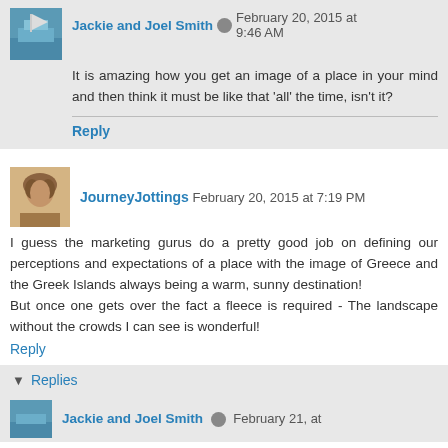Jackie and Joel Smith February 20, 2015 at 9:46 AM
It is amazing how you get an image of a place in your mind and then think it must be like that 'all' the time, isn't it?
Reply
JourneyJottings February 20, 2015 at 7:19 PM
I guess the marketing gurus do a pretty good job on defining our perceptions and expectations of a place with the image of Greece and the Greek Islands always being a warm, sunny destination!
But once one gets over the fact a fleece is required - The landscape without the crowds I can see is wonderful!
Reply
Replies
Jackie and Joel Smith February 21, at